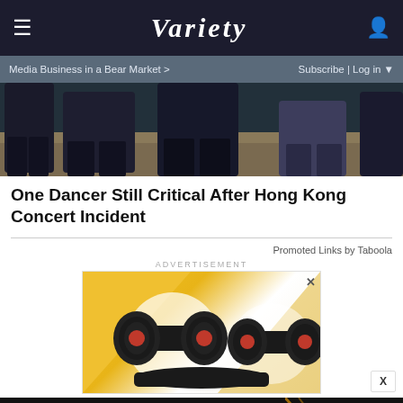VARIETY
Media Business in a Bear Market > | Subscribe | Log in
[Figure (photo): Cropped photo of people walking in dark suits outdoors, only lower bodies visible]
One Dancer Still Critical After Hong Kong Concert Incident
Promoted Links by Taboola
ADVERTISEMENT
[Figure (photo): Advertisement image showing adjustable dumbbells on a yellow background]
[Figure (photo): Bottom banner advertisement: AMAZON FIRE TVS AS LOW AS $319 - SPY]